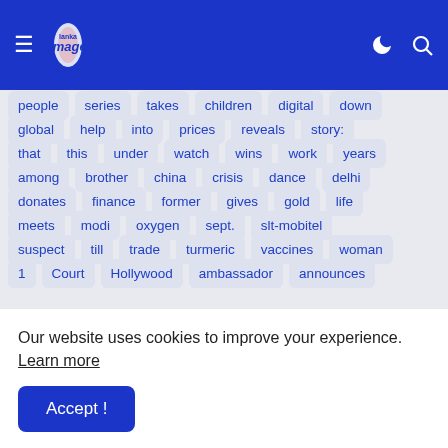Lanka Image
people
series
takes
children
digital
down
global
help
into
prices
reveals
story:
that
this
under
watch
wins
work
years
among
brother
china
crisis
dance
delhi
donates
finance
former
gives
gold
life
meets
modi
oxygen
sept.
slt-mobitel
suspect
till
trade
turmeric
vaccines
woman
1
Court
Hollywood
ambassador
announces
Our website uses cookies to improve your experience. Learn more
Accept !